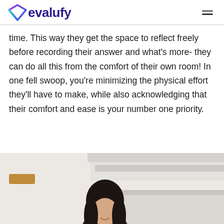evalufy
time. This way they get the space to reflect freely before recording their answer and what’s more- they can do all this from the comfort of their own room! In one fell swoop, you’re minimizing the physical effort they’ll have to make, while also acknowledging that their comfort and ease is your number one priority.
[Figure (photo): A woman with dark hair sitting in a modern kitchen/room environment, viewed from above the waist. White cabinetry and shelving visible in background.]